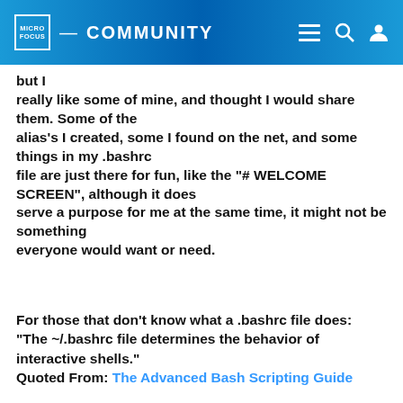MICRO FOCUS COMMUNITY
but I really like some of mine, and thought I would share them. Some of the alias's I created, some I found on the net, and some things in my .bashrc file are just there for fun, like the "# WELCOME SCREEN", although it does serve a purpose for me at the same time, it might not be something everyone would want or need.
For those that don't know what a .bashrc file does: "The ~/.bashrc file determines the behavior of interactive shells." Quoted From: The Advanced Bash Scripting Guide